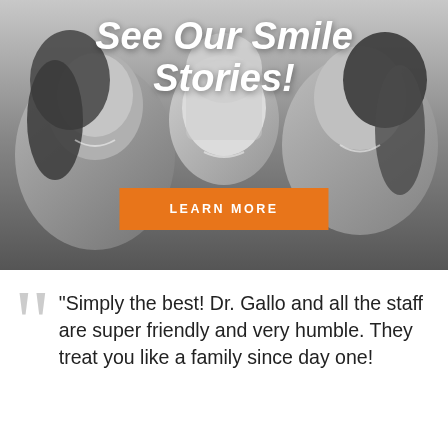[Figure (photo): Black and white photo of three smiling young women/girls side by side, with white bold italic text overlay reading 'See Our Smile Stories!' and an orange button labeled 'LEARN MORE']
See Our Smile Stories!
LEARN MORE
"Simply the best! Dr. Gallo and all the staff are super friendly and very humble. They treat you like a family since day one!